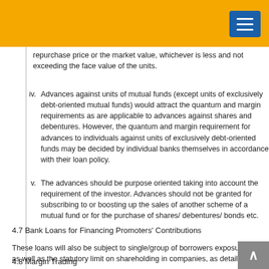repurchase price or the market value, whichever is less and not exceeding the face value of the units.
iv. Advances against units of mutual funds (except units of exclusively debt-oriented mutual funds) would attract the quantum and margin requirements as are applicable to advances against shares and debentures. However, the quantum and margin requirement for advances to individuals against units of exclusively debt-oriented funds may be decided by individual banks themselves in accordance with their loan policy.
v. The advances should be purpose oriented taking into account the requirement of the investor. Advances should not be granted for subscribing to or boosting up the sales of another scheme of a mutual fund or for the purchase of shares/ debentures/ bonds etc.
4.7 Bank Loans for Financing Promoters' Contributions
These loans will also be subject to single/group of borrowers exposure limits as well as the statutory limit on shareholding in companies, as detailed
4.8 Margin Trading